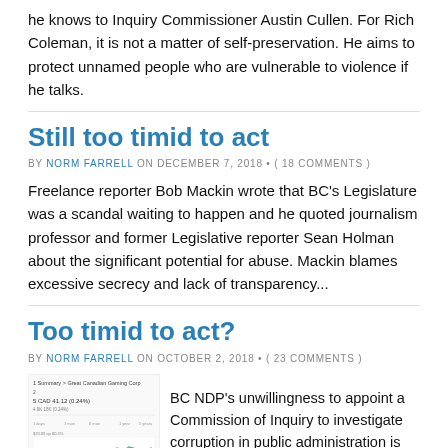he knows to Inquiry Commissioner Austin Cullen. For Rich Coleman, it is not a matter of self-preservation. He aims to protect unnamed people who are vulnerable to violence if he talks.
Still too timid to act
BY NORM FARRELL ON DECEMBER 7, 2018 • ( 18 COMMENTS )
Freelance reporter Bob Mackin wrote that BC's Legislature was a scandal waiting to happen and he quoted journalism professor and former Legislative reporter Sean Holman about the significant potential for abuse. Mackin blames excessive secrecy and lack of transparency...
Too timid to act?
BY NORM FARRELL ON OCTOBER 2, 2018 • ( 23 COMMENTS )
[Figure (continuous-plot): Small thumbnail chart showing Great Canadian Gaming Corp stock summary, line chart with teal line trending, price around 5 CAD range]
BC NDP's unwillingness to appoint a Commission of Inquiry to investigate corruption in public administration is one more sign of timidity, a thing becoming the Horgan Government's hallmark. We've seen much